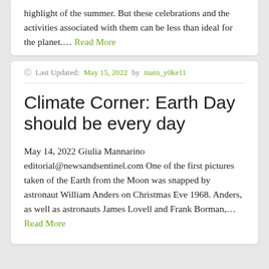highlight of the summer. But these celebrations and the activities associated with them can be less than ideal for the planet.... Read More
Last Updated: May 15, 2022 by main_y0ke11
Climate Corner: Earth Day should be every day
May 14, 2022 Giulia Mannarino editorial@newsandsentinel.com One of the first pictures taken of the Earth from the Moon was snapped by astronaut William Anders on Christmas Eve 1968. Anders, as well as astronauts James Lovell and Frank Borman,... Read More